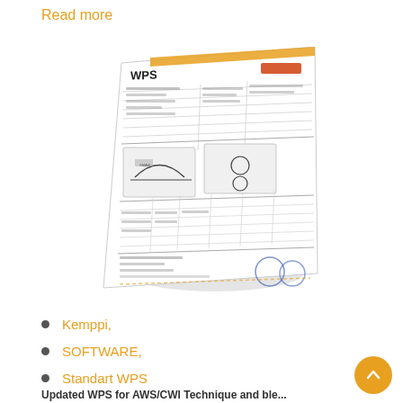Read more
[Figure (photo): A tilted/perspective view of a WPS (Welding Procedure Specification) document form from Kemppi, showing tables, diagrams of weld joints, data fields, and official stamps/signatures.]
Kemppi,
SOFTWARE,
Standart WPS
Updated WPS for AWS/CWI Technique and ble...